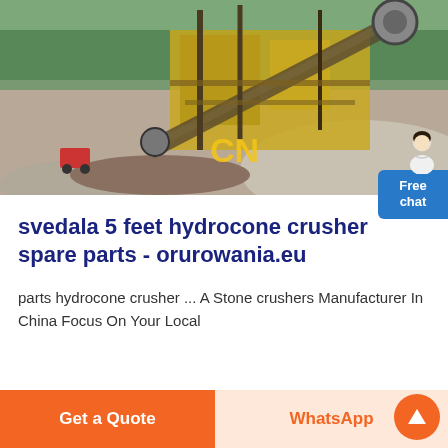[Figure (photo): Industrial stone crusher / hydrocone crusher machine at an outdoor quarry site with gravel piles and conveyor belts. Yellow CN watermark text visible on image.]
svedala 5 feet hydrocone crusher spare parts - orurowania.eu
parts hydrocone crusher ... A Stone crushers Manufacturer In China Focus On Your Local